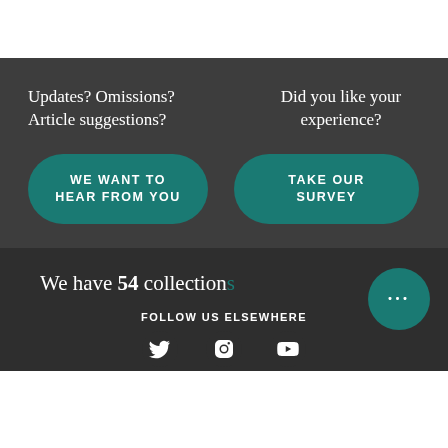Updates? Omissions? Article suggestions?
WE WANT TO HEAR FROM YOU
Did you like your experience?
TAKE OUR SURVEY
We have 54 collections
FOLLOW US ELSEWHERE